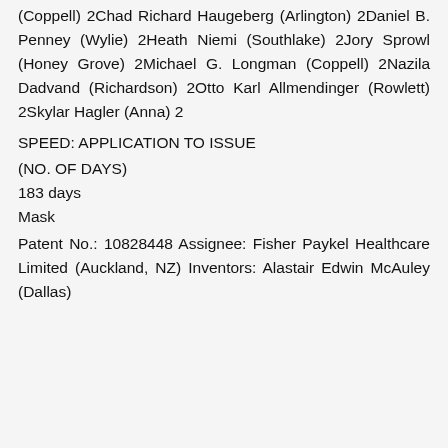(Coppell) 2Chad Richard Haugeberg (Arlington) 2Daniel B. Penney (Wylie) 2Heath Niemi (Southlake) 2Jory Sprowl (Honey Grove) 2Michael G. Longman (Coppell) 2Nazila Dadvand (Richardson) 2Otto Karl Allmendinger (Rowlett) 2Skylar Hagler (Anna) 2
SPEED: APPLICATION TO ISSUE
(NO. OF DAYS)
183 days
Mask
Patent No.: 10828448 Assignee: Fisher Paykel Healthcare Limited (Auckland, NZ) Inventors: Alastair Edwin McAuley (Dallas)